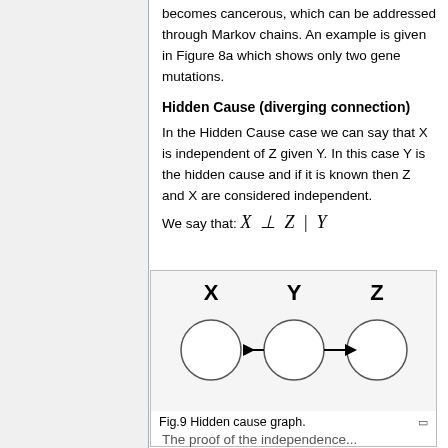becomes cancerous, which can be addressed through Markov chains. An example is given in Figure 8a which shows only two gene mutations.
Hidden Cause (diverging connection)
In the Hidden Cause case we can say that X is independent of Z given Y. In this case Y is the hidden cause and if it is known then Z and X are considered independent.
[Figure (network-graph): Hidden cause graph showing nodes X, Y, Z where Y has arrows pointing left to X and right to Z, representing a diverging connection.]
Fig.9 Hidden cause graph.
The proof of the independence...